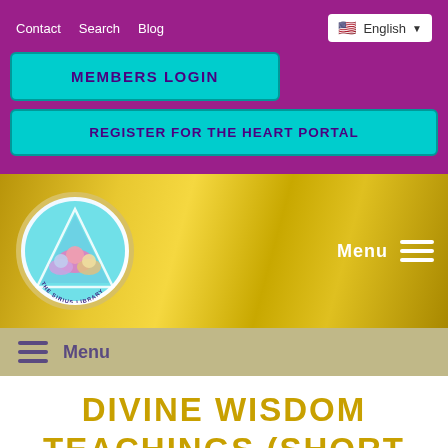Contact  Search  Blog  English
MEMBERS LOGIN
REGISTER FOR THE HEART PORTAL
[Figure (logo): The Sirius Library circular logo with triangle and colorful lotus/heart symbols inside, on a gold navigation bar with Menu and hamburger icon on the right]
Menu
DIVINE WISDOM TEACHINGS (SHORT PROGRAMS)